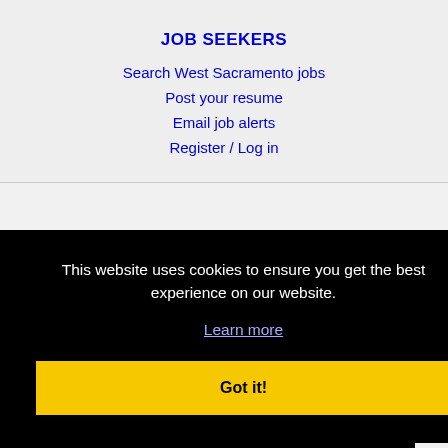JOB SEEKERS
Search West Sacramento jobs
Post your resume
Email job alerts
Register / Log in
This website uses cookies to ensure you get the best experience on our website.
Learn more
Got it!
IMMIGRATION SPECIALISTS